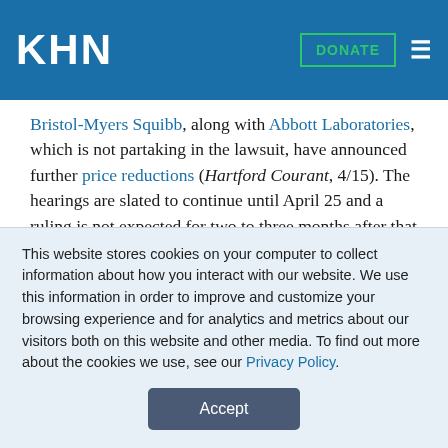KHN | DONATE
Bristol-Myers Squibb, along with Abbott Laboratories, which is not partaking in the lawsuit, have announced further price reductions (Hartford Courant, 4/15). The hearings are slated to continue until April 25 and a ruling is not expected for two to three months after that time. An appeal by the losing party to the Constitutional Court, South Africa's highest court, is expected (Reuters, 4/16).
This is part of the KHN Morning Briefing, a summary of health policy coverage from major news organizations. Sign up for an email subscription.
This website stores cookies on your computer to collect information about how you interact with our website. We use this information in order to improve and customize your browsing experience and for analytics and metrics about our visitors both on this website and other media. To find out more about the cookies we use, see our Privacy Policy.
Accept